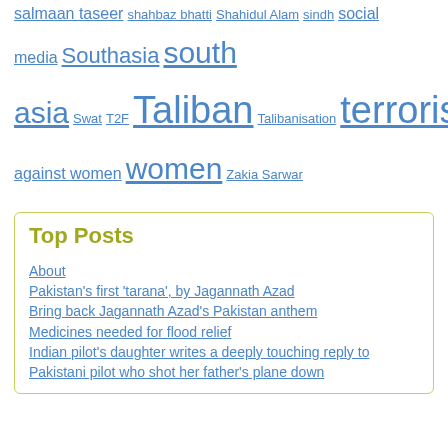salmaan taseer shahbaz bhatti Shahidul Alam sindh social media Southasia south asia Swat T2F Taliban Talibanisation terrorism Trump VAW violence Violence against women women Zakia Sarwar
Top Posts
About
Pakistan's first 'tarana', by Jagannath Azad
Bring back Jagannath Azad's Pakistan anthem
Medicines needed for flood relief
Indian pilot's daughter writes a deeply touching reply to Pakistani pilot who shot her father's plane down